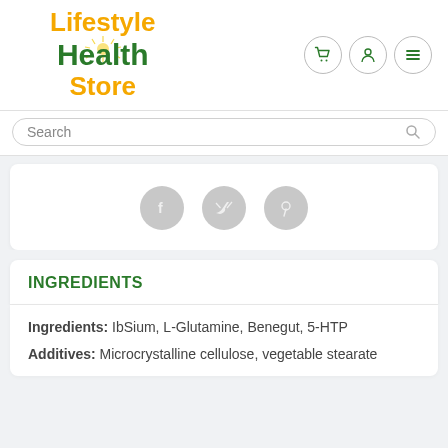[Figure (logo): Lifestyle Health Store logo with sun graphic, gold and green text]
Search
[Figure (infographic): Social share icons: Facebook, Twitter, Pinterest circles in light grey]
INGREDIENTS
Ingredients: IbSium, L-Glutamine, Benegut, 5-HTP
Additives: Microcrystalline cellulose, vegetable stearate